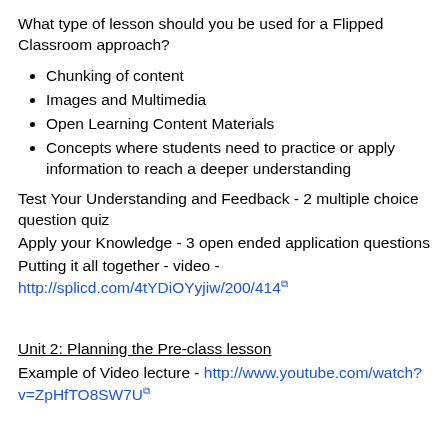What type of lesson should you be used for a Flipped Classroom approach?
Chunking of content
Images and Multimedia
Open Learning Content Materials
Concepts where students need to practice or apply information to reach a deeper understanding
Test Your Understanding and Feedback - 2 multiple choice question quiz
Apply your Knowledge - 3 open ended application questions
Putting it all together - video - http://splicd.com/4tYDiOYyjiw/200/414
Unit 2: Planning the Pre-class lesson
Example of Video lecture - http://www.youtube.com/watch?v=ZpHfTO8SW7U